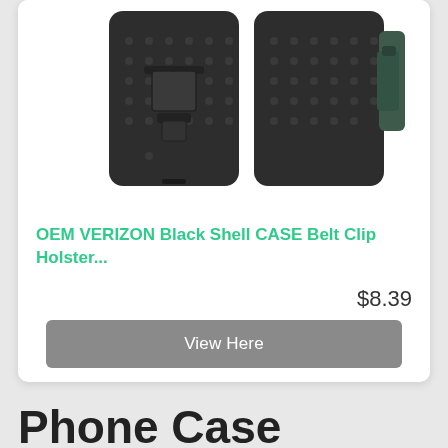[Figure (photo): Two black phone cases with belt clip holster shown from the back — one with a kickstand and one with a belt clip attachment, both with a dot-pattern texture on a white background.]
OEM VERIZON Black Shell CASE Belt Clip Holster...
$8.39
View Here
Phone Case Motorola